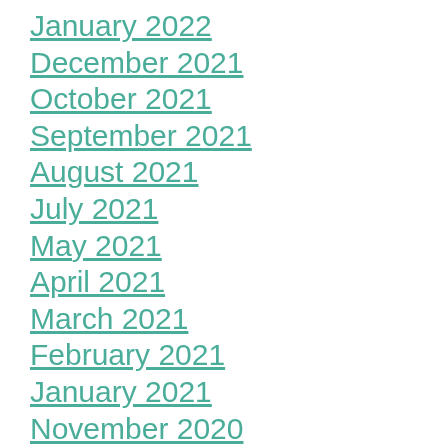January 2022
December 2021
October 2021
September 2021
August 2021
July 2021
May 2021
April 2021
March 2021
February 2021
January 2021
November 2020
Categories
Family